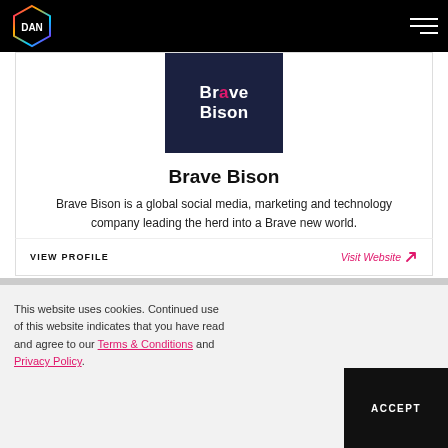DAN
[Figure (logo): Brave Bison logo — white bold text on dark navy background]
Brave Bison
Brave Bison is a global social media, marketing and technology company leading the herd into a Brave new world.
VIEW PROFILE
Visit Website ↗
This website uses cookies. Continued use of this website indicates that you have read and agree to our Terms & Conditions and Privacy Policy.
ACCEPT